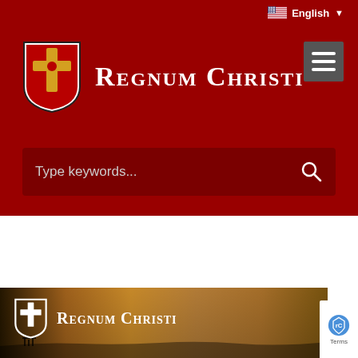[Figure (screenshot): Regnum Christi website header with dark red background, logo, site title, hamburger menu, language selector showing US flag and English, and a search bar.]
English
Regnum Christi
Type keywords...
[Figure (screenshot): Bottom banner with Regnum Christi logo and title over a golden sunset beach photo, with reCAPTCHA badge and Terms visible in bottom right.]
Regnum Christi
Terms